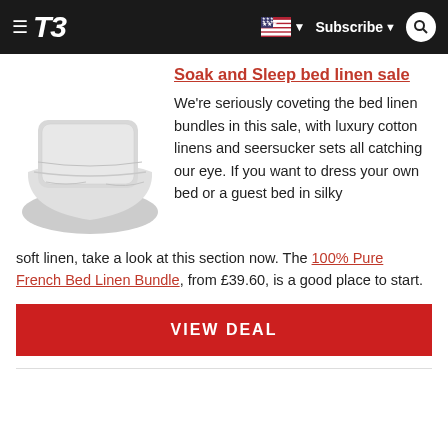T3 — Subscribe | US flag | Search
Soak and Sleep bed linen sale
[Figure (photo): White bed linen bundle — pillow and folded duvet in light grey/white, photographed on white background]
We're seriously coveting the bed linen bundles in this sale, with luxury cotton linens and seersucker sets all catching our eye. If you want to dress your own bed or a guest bed in silky soft linen, take a look at this section now. The 100% Pure French Bed Linen Bundle, from £39.60, is a good place to start.
VIEW DEAL